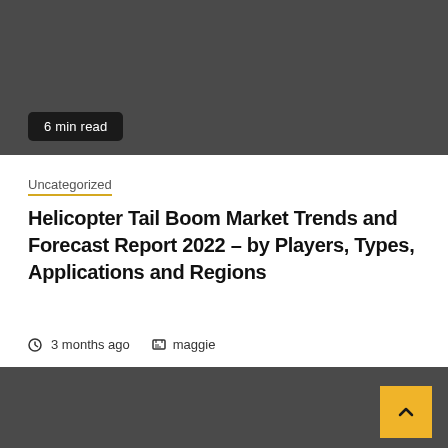[Figure (photo): Dark grey banner image at top of page]
6 min read
Uncategorized
Helicopter Tail Boom Market Trends and Forecast Report 2022 – by Players, Types, Applications and Regions
3 months ago   maggie
[Figure (photo): Dark grey banner image at bottom of page with gold back-to-top button]